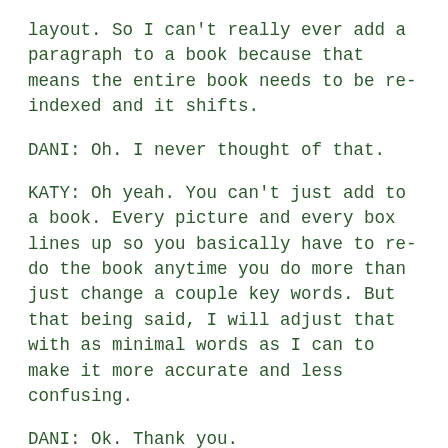layout. So I can't really ever add a paragraph to a book because that means the entire book needs to be re-indexed and it shifts.
DANI: Oh. I never thought of that.
KATY: Oh yeah. You can't just add to a book. Every picture and every box lines up so you basically have to re-do the book anytime you do more than just change a couple key words. But that being said, I will adjust that with as minimal words as I can to make it more accurate and less confusing.
DANI: Ok. Thank you.